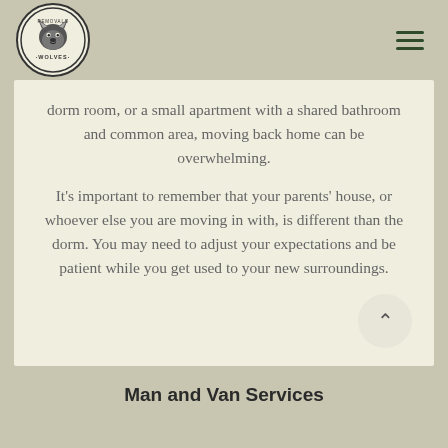[Figure (logo): Wolves Removals circular logo with wolf illustration]
dorm room, or a small apartment with a shared bathroom and common area, moving back home can be overwhelming.

It's important to remember that your parents' house, or whoever else you are moving in with, is different than the dorm. You may need to adjust your expectations and be patient while you get used to your new surroundings.
Man and Van Services